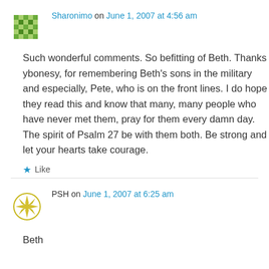Sharonimo on June 1, 2007 at 4:56 am
Such wonderful comments. So befitting of Beth. Thanks ybonesy, for remembering Beth's sons in the military and especially, Pete, who is on the front lines. I do hope they read this and know that many, many people who have never met them, pray for them every damn day. The spirit of Psalm 27 be with them both. Be strong and let your hearts take courage.
Like
PSH on June 1, 2007 at 6:25 am
Beth